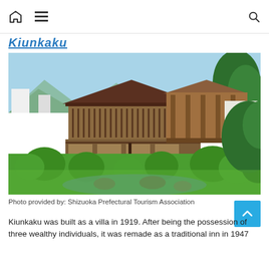Home | Menu | Search
Kiunkaku
[Figure (photo): Traditional Japanese villa Kiunkaku with multi-story wooden architecture, surrounded by a manicured Japanese garden with trimmed shrubs, pine trees, a small pond with rocks, and a blue sky with mountains in the background.]
Photo provided by: Shizuoka Prefectural Tourism Association
Kiunkaku was built as a villa in 1919. After being the possession of three wealthy individuals, it was remade as a traditional inn in 1947